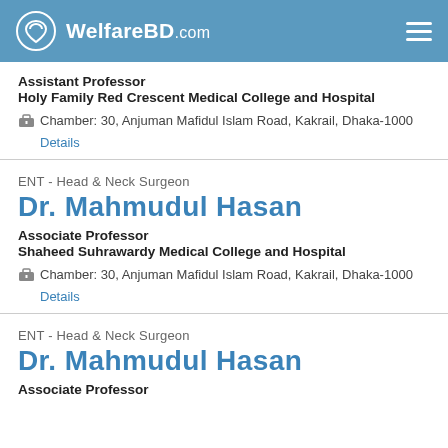WelfareBD.com
Assistant Professor
Holy Family Red Crescent Medical College and Hospital
Chamber: 30, Anjuman Mafidul Islam Road, Kakrail, Dhaka-1000
Details
ENT - Head & Neck Surgeon
Dr. Mahmudul Hasan
Associate Professor
Shaheed Suhrawardy Medical College and Hospital
Chamber: 30, Anjuman Mafidul Islam Road, Kakrail, Dhaka-1000
Details
ENT - Head & Neck Surgeon
Dr. Mahmudul Hasan
Associate Professor